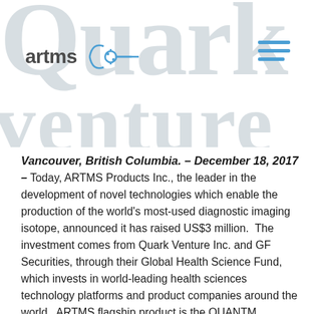ARTMS | Quark Venture
[Figure (logo): ARTMS logo with stylized atom icon in blue, text reads 'artms' in dark gray]
Vancouver, British Columbia. – December 18, 2017 – Today, ARTMS Products Inc., the leader in the development of novel technologies which enable the production of the world's most-used diagnostic imaging isotope, announced it has raised US$3 million.  The investment comes from Quark Venture Inc. and GF Securities, through their Global Health Science Fund, which invests in world-leading health sciences technology platforms and product companies around the world.  ARTMS flagship product is the QUANTM Irradiation System (QIS®), a